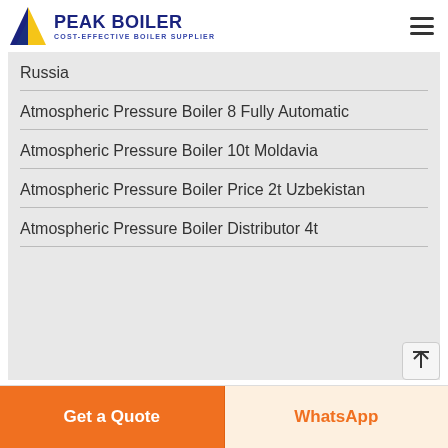PEAK BOILER — COST-EFFECTIVE BOILER SUPPLIER
Russia
Atmospheric Pressure Boiler 8 Fully Automatic
Atmospheric Pressure Boiler 10t Moldavia
Atmospheric Pressure Boiler Price 2t Uzbekistan
Atmospheric Pressure Boiler Distributor 4t
Get a Quote | WhatsApp